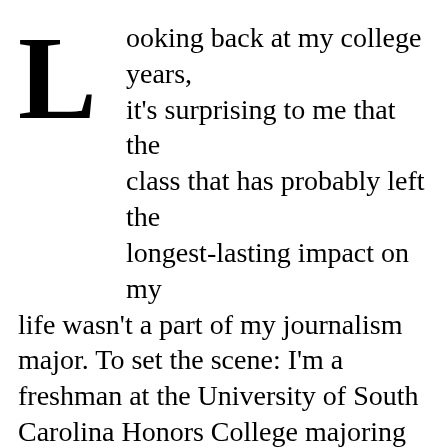Looking back at my college years, it's surprising to me that the class that has probably left the longest-lasting impact on my life wasn't a part of my journalism major. To set the scene: I'm a freshman at the University of South Carolina Honors College majoring in, at the time, Media Arts. I was riding pretty high and feeling pretty cocky (pun only slightly not intended), having finished the first semester with a 4.0. This winning streak wasn't to last.
In keeping with the adage that
[Figure (photo): Photograph of a person sitting in front of bookshelves with colorful books]